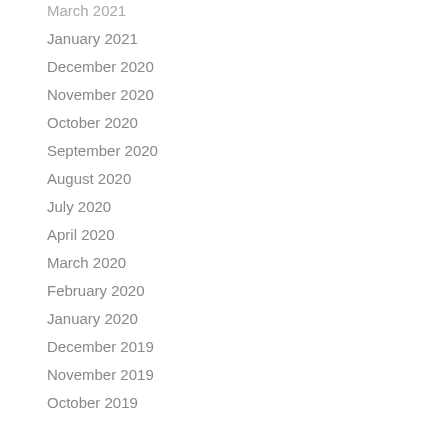March 2021
January 2021
December 2020
November 2020
October 2020
September 2020
August 2020
July 2020
April 2020
March 2020
February 2020
January 2020
December 2019
November 2019
October 2019